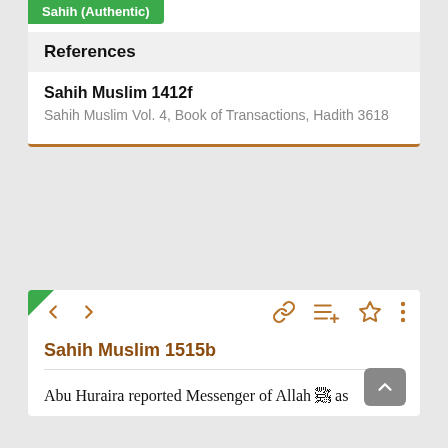Sahih (Authentic)
References
Sahih Muslim 1412f
Sahih Muslim Vol. 4, Book of Transactions, Hadith 3618
Sahih Muslim 1515b
Abu Huraira reported Messenger of Allah ﷺ as